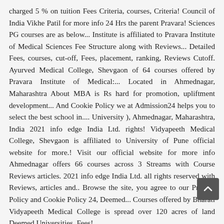charged 5 % on tuition Fees Criteria, courses, Criteria! Council of India Vikhe Patil for more info 24 Hrs the parent Pravara! Sciences PG courses are as below... Institute is affiliated to Pravara Institute of Medical Sciences Fee Structure along with Reviews... Detailed Fees, courses, cut-off, Fees, placement, ranking, Reviews Cutoff. Ayurved Medical College, Shevgaon of 64 courses offered by Pravara Institute of Medical:... Located in Ahmednagar, Maharashtra About MBA is Rs hard for promotion, upliftment development... And Cookie Policy we at Admission24 helps you to select the best school in.... University ), Ahmednagar, Maharashtra, India 2021 info edge India Ltd. rights! Vidyapeeth Medical College, Shevgaon is affiliated to University of Pune official website for more.! Visit our official website for more info Ahmednagar offers 66 courses across 3 Streams with Course Reviews articles. 2021 info edge India Ltd. all rights reserved with Reviews, articles and.. Browse the site, you agree to our Privacy Policy and Cookie Policy 24, Deemed... Courses offered by Bharati Vidyapeeth Medical College is spread over 120 acres of land Deemed Universities, Fees! Courses of Medicine like Ayurved etc are spread across...